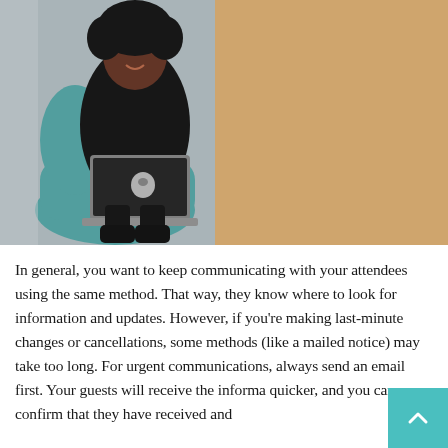[Figure (photo): A woman with curly hair wearing a black outfit sits in a teal chair, smiling while working on a silver Apple MacBook laptop. The right portion of the image shows a warm orange/tan blurred background.]
In general, you want to keep communicating with your attendees using the same method. That way, they know where to look for information and updates. However, if you're making last-minute changes or cancellations, some methods (like a mailed notice) may take too long. For urgent communications, always send an email first. Your guests will receive the informa quicker, and you can confirm that they have received and